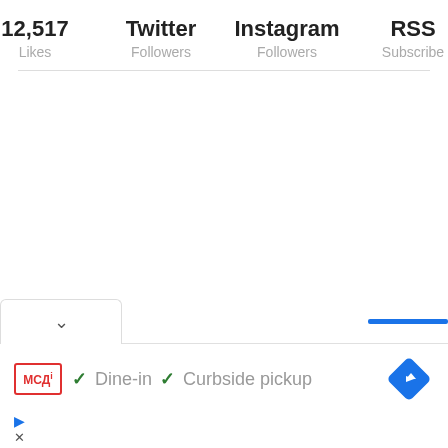12,517 Likes | Twitter Followers | Instagram Followers | RSS Subscribe
[Figure (infographic): Social media stats bar showing 12,517 Likes, Twitter Followers, Instagram Followers, RSS Subscribe]
[Figure (screenshot): Bottom UI bar with chevron/collapse button and blue progress bar, followed by McDonald's ad row showing Dine-in and Curbside pickup options with navigation diamond icon]